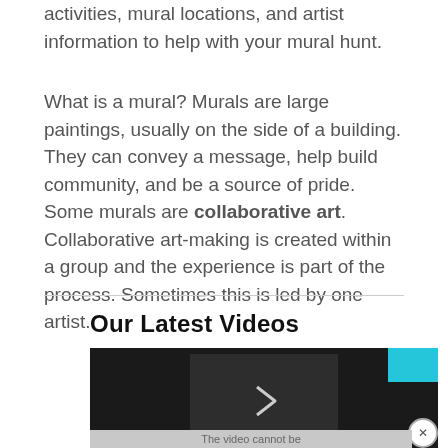activities, mural locations, and artist information to help with your mural hunt.
What is a mural? Murals are large paintings, usually on the side of a building. They can convey a message, help build community, and be a source of pride. Some murals are collaborative art. Collaborative art-making is created within a group and the experience is part of the process. Sometimes this is led by one artist.
Our Latest Videos
[Figure (screenshot): A video player showing a dark background with a play button arrow in the center. A teal/cyan colored box appears in the upper right corner, and a close (X) button is visible. At the bottom there is text reading 'The video cannot be']